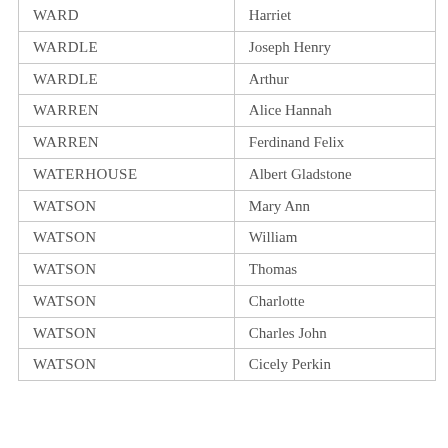| WARD | Harriet |
| WARDLE | Joseph Henry |
| WARDLE | Arthur |
| WARREN | Alice Hannah |
| WARREN | Ferdinand Felix |
| WATERHOUSE | Albert Gladstone |
| WATSON | Mary Ann |
| WATSON | William |
| WATSON | Thomas |
| WATSON | Charlotte |
| WATSON | Charles John |
| WATSON | Cicely Perkin |